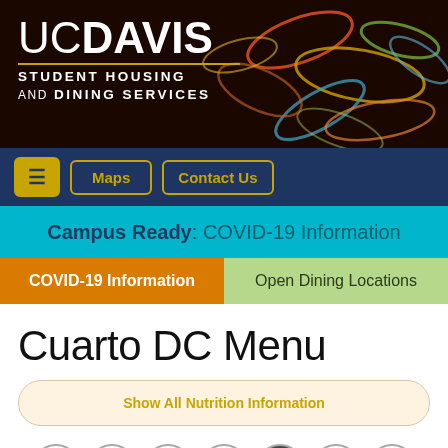[Figure (logo): UC Davis Student Housing and Dining Services logo on dark background with abstract colorful oval shapes]
UC DAVIS STUDENT HOUSING AND DINING SERVICES
[Figure (screenshot): Navigation bar with hamburger menu, Maps, and Contact Us buttons on dark blue background]
Campus Ready: COVID-19 Information
COVID-19 Information | Open Dining Locations
Cuarto DC Menu
Show All Nutrition Information
S M T W T F S